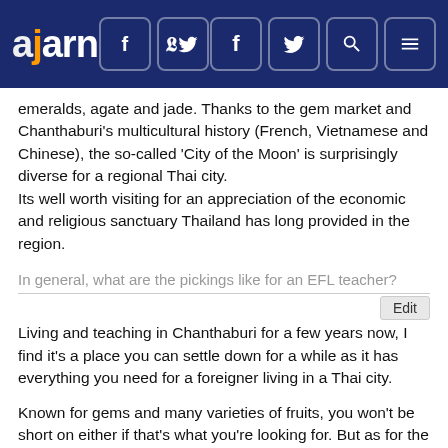ajarn
emeralds, agate and jade. Thanks to the gem market and Chanthaburi's multicultural history (French, Vietnamese and Chinese), the so-called 'City of the Moon' is surprisingly diverse for a regional Thai city.
Its well worth visiting for an appreciation of the economic and religious sanctuary Thailand has long provided in the region.
In general, what are the pickings like for an EFL teacher?
Living and teaching in Chanthaburi for a few years now, I find it's a place you can settle down for a while as it has everything you need for a foreigner living in a Thai city.
Known for gems and many varieties of fruits, you won't be short on either if that's what you're looking for. But as for the teaching, it has more than enough schools and it's also an easily adaptable place to live. If you're a first timer teaching in